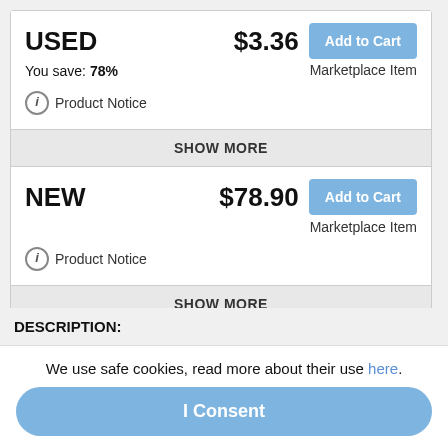USED  $3.36  Add to Cart
You save: 78%  Marketplace Item
Product Notice
SHOW MORE
NEW  $78.90  Add to Cart
Marketplace Item
Product Notice
SHOW MORE
DESCRIPTION:
Never before has a book so clearly detailed how exercise can reduce the risk for and recurrence of breast cancer. Here's what women can do now to prevent breast cancer:
We use safe cookies, read more about their use here.
I Consent